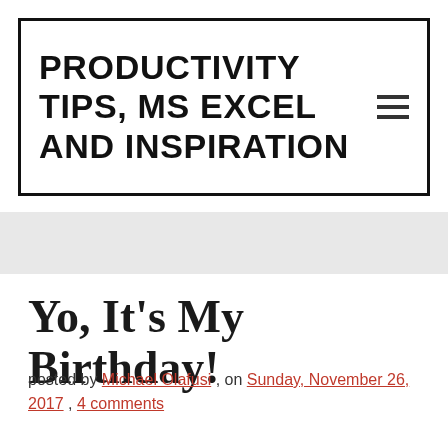PRODUCTIVITY TIPS, MS EXCEL AND INSPIRATION
Yo, It's My Birthday!
posted by Michael Olafusi , on Sunday, November 26, 2017 , 4 comments